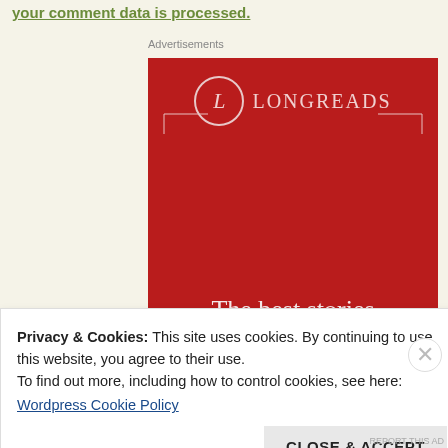your comment data is processed.
Advertisements
[Figure (logo): Longreads advertisement banner: red background with circle L logo and brand name LONGREADS, tagline 'The best stories']
Privacy & Cookies: This site uses cookies. By continuing to use this website, you agree to their use.
To find out more, including how to control cookies, see here:
Wordpress Cookie Policy
CLOSE & ACCEPT